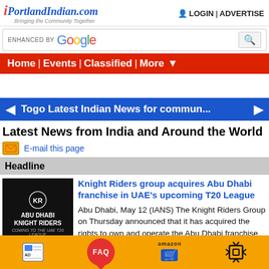iPortlandIndian.com — Bringing the Community Together | LOGIN | ADVERTISE
[Figure (screenshot): Search bar with 'ENHANCED BY Google' text and search icon]
Home | Events | Classified | More
[Figure (infographic): Blue news ticker bar: Togo Latest Indian News for commun...]
Latest News from India and Around the World
E-mail this page
Headline
[Figure (photo): Abu Dhabi Knight Riders team logo on dark background with stadium]
Knight Riders group acquires Abu Dhabi franchise in UAE's upcoming T20 League
Abu Dhabi, May 12 (IANS) The Knight Riders Group on Thursday announced that it has acquired the rights to own and operate the Abu Dhabi franchise and will set up Abu Dhabi Knight Riders (ADKR) as an integral part of the upcoming UAE's T20 League.
2022-05-12
AD | FAQ | amazon | [icon]